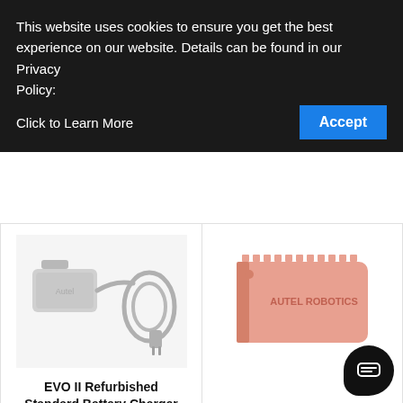This website uses cookies to ensure you get the best experience on our website. Details can be found in our Privacy Policy:    Click to Learn More
[Figure (photo): EVO II refurbished standard battery charger product photo on white background]
EVO II Refurbished Standard Battery Charger
$78.00  $58.00
[Figure (photo): Autel Robotics SD Card Holder product photo - pink/red card shaped device]
Autel Robotics SD Card Holder
$10.00